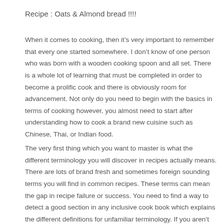Recipe : Oats & Almond bread !!!!
When it comes to cooking, then it’s very important to remember that every one started somewhere. I don’t know of one person who was born with a wooden cooking spoon and all set. There is a whole lot of learning that must be completed in order to become a prolific cook and there is obviously room for advancement. Not only do you need to begin with the basics in terms of cooking however, you almost need to start after understanding how to cook a brand new cuisine such as Chinese, Thai, or Indian food.
The very first thing which you want to master is what the different terminology you will discover in recipes actually means. There are lots of brand fresh and sometimes foreign sounding terms you will find in common recipes. These terms can mean the gap in recipe failure or success. You need to find a way to detect a good section in any inclusive cook book which explains the different definitions for unfamiliar terminology. If you aren’t absolutely certain what is